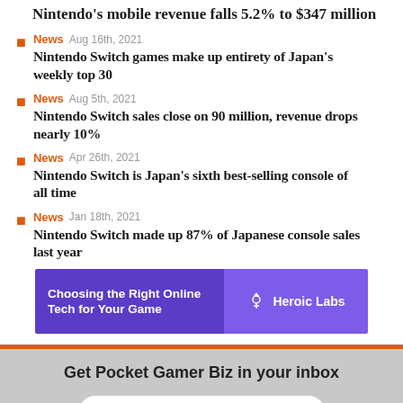Nintendo's mobile revenue falls 5.2% to $347 million
News  Aug 16th, 2021  Nintendo Switch games make up entirety of Japan's weekly top 30
News  Aug 5th, 2021  Nintendo Switch sales close on 90 million, revenue drops nearly 10%
News  Apr 26th, 2021  Nintendo Switch is Japan's sixth best-selling console of all time
News  Jan 18th, 2021  Nintendo Switch made up 87% of Japanese console sales last year
[Figure (other): Advertisement banner: Choosing the Right Online Tech for Your Game — Heroic Labs]
Get Pocket Gamer Biz in your inbox
Your email address